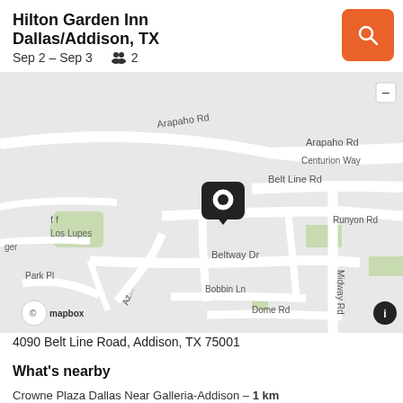Hilton Garden Inn Dallas/Addison, TX
Sep 2 – Sep 3   👥 2
[Figure (map): Street map showing the location of Hilton Garden Inn Dallas/Addison, TX near Belt Line Rd and Runyon Rd, with a map pin marker. Streets visible include Arapaho Rd, Centurion Way, Belt Line Rd, Runyon Rd, Beltway Dr, Midway Rd, Bobbin Ln, Dome Rd, Park Pl. Nearby landmark Los Lupes visible. Mapbox attribution shown.]
4090 Belt Line Road, Addison, TX 75001
What's nearby
Crowne Plaza Dallas Near Galleria-Addison – 1 km